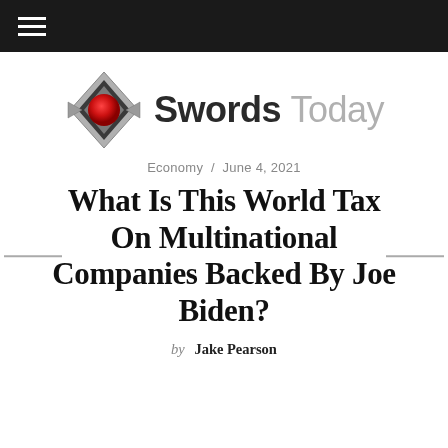≡ (hamburger menu)
[Figure (logo): Swords Today logo: a metallic diamond-shaped icon with a red sphere in the center, beside the text 'Swords' in dark bold and 'Today' in light gray]
Economy / June 4, 2021
What Is This World Tax On Multinational Companies Backed By Joe Biden?
by Jake Pearson